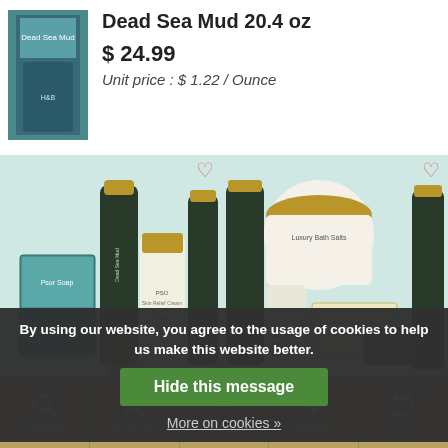[Figure (photo): Dead Sea Mud product thumbnail - small bottle in teal/blue packaging]
Dead Sea Mud 20.4 oz
$ 24.99
Unit price : $ 1.22 / Ounce
[Figure (photo): Psoriasis set with Dead Sea Mud products - bottles, cream tube, soap box in teal packaging]
[Figure (photo): Eczema Treatment Dead Sea Salt Mud products - jar, bottles, soap bar]
★★★★★
Sale
Sale
Psoriasis set with Dead Sea Mud and Mud
Eczema Treatment - Dead Sea Salt, Mud
$ 117.98  $ 95.00
In stock
In stock
By using our website, you agree to the usage of cookies to help us make this website better.
Hide this message
More on cookies »
Search  Account  Menu  Wishlist  Cart 0